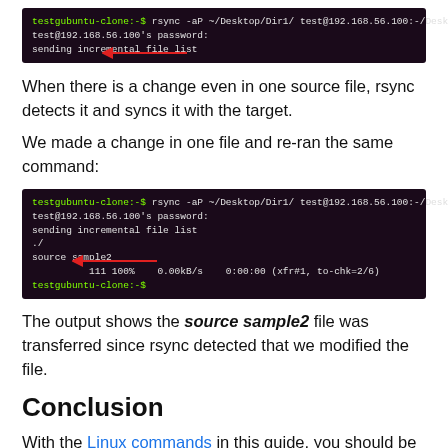[Figure (screenshot): Terminal window showing rsync command: testgubuntu-clone:-$ rsync -aP ~/Desktop/Dir1/ test@192.168.56.100:-/Desktop/test, test@192.168.56.100's password:, sending incremental file list. A red arrow points to the last line.]
When there is a change even in one source file, rsync detects it and syncs it with the target.
We made a change in one file and re-ran the same command:
[Figure (screenshot): Terminal window showing rsync command output: testgubuntu-clone:-$ rsync -aP ~/Desktop/Dir1/ test@192.168.56.100:-/Desktop/test, test@192.168.56.100's password:, sending incremental file list, ./, source sample2, 111 100% 0.00kB/s 0:00:00 (xfr#1, to-chk=2/6), testgubuntu-clone:-$. A red arrow points to 'source sample2'.]
The output shows the source sample2 file was transferred since rsync detected that we modified the file.
Conclusion
With the Linux commands in this guide, you should be able to transfer files with ease over an SSH. W...